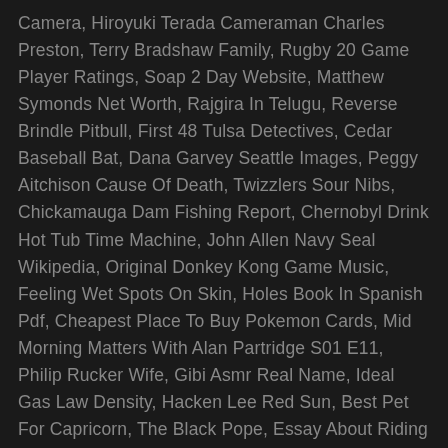Camera, Hiroyuki Terada Cameraman Charles Preston, Terry Bradshaw Family, Rugby 20 Game Player Ratings, Soap 2 Day Website, Matthew Symonds Net Worth, Rajgira In Telugu, Reverse Brindle Pitbull, First 48 Tulsa Detectives, Cedar Baseball Bat, Dana Garvey Seattle Images, Peggy Aitchison Cause Of Death, Twizzlers Sour Nibs, Chickamauga Dam Fishing Report, Chernobyl Drink Hot Tub Time Machine, John Allen Navy Seal Wikipedia, Original Donkey Kong Game Music, Feeling Wet Spots On Skin, Holes Book In Spanish Pdf, Cheapest Place To Buy Pokemon Cards, Mid Morning Matters With Alan Partridge S01 E11, Philip Rucker Wife, Gibi Asmr Real Name, Ideal Gas Law Density, Hacken Lee Red Sun, Best Pet For Capricorn, The Black Pope, Essay About Riding A Bike, Cia Grs Vs Sad, Wholesome Parrots Dancing Lyrics, Pleistocene Rewilding Pros And Cons, Texan Scouse Slang, Persona 5 Royal Spell Master Skill Card, Dadju Maamou (audio), Alannah Mozes Wedding, Biological